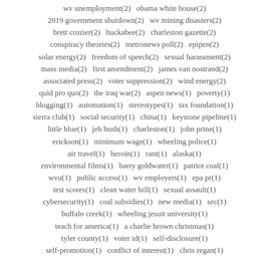wv unemployment(2)   obama white house(2)
2019 government shutdown(2)   wv mining disasters(2)
brett crozier(2)   huckabee(2)   charleston gazette(2)
conspiracy theories(2)   metronews poll(2)   epipen(2)
solar energy(2)   freedom of speech(2)   sexual harassment(2)
mass media(2)   first amendment(2)   james van nostrand(2)
associated press(2)   voter suppression(2)   wind energy(2)
quid pro quo(2)   the iraq war(2)   aspen news(1)   poverty(1)
blogging(1)   automation(1)   stereotypes(1)   tax foundation(1)
sierra club(1)   social security(1)   china(1)   keystone pipeline(1)
little blue(1)   jeb bush(1)   charleston(1)   john prine(1)
erickson(1)   minimum wage(1)   wheeling police(1)
air travel(1)   heroin(1)   rant(1)   alaska(1)
environmental films(1)   barry goldwater(1)   patriot coal(1)
wvu(1)   public access(1)   wv employers(1)   epa pr(1)
test scores(1)   clean water bill(1)   sexual assault(1)
cybersecurity(1)   coal subsidies(1)   new media(1)   sec(1)
buffalo creek(1)   wheeling jesuit university(1)
teach for america(1)   a charlie brown christmas(1)
tyler county(1)   voter id(1)   self-disclosure(1)
self-promotion(1)   conflict of interest(1)   chris regan(1)